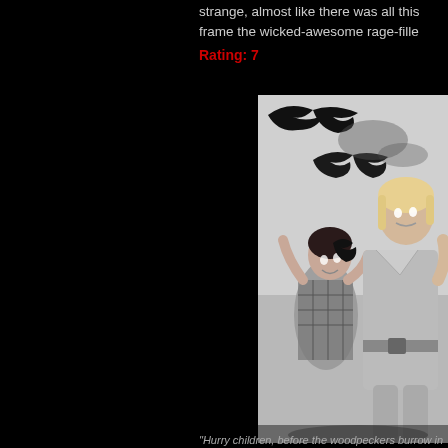strange, almost like there was all this frame the wicked-awesome rage-fille
Rating: 7
[Figure (photo): Black and white movie still showing two women being attacked by birds. A blonde woman in a suit and a younger dark-haired girl are running/ducking as large dark birds swoop down around them. Scene appears to be from Alfred Hitchcock's 'The Birds'.]
"Hurry children, before the woodpeckers burrow in